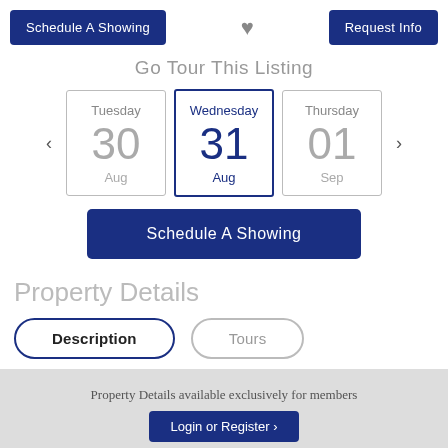Schedule A Showing
Request Info
Go Tour This Listing
Tuesday 30 Aug
Wednesday 31 Aug
Thursday 01 Sep
Schedule A Showing
Property Details
Description
Tours
Property Details available exclusively for members
Login or Register ›